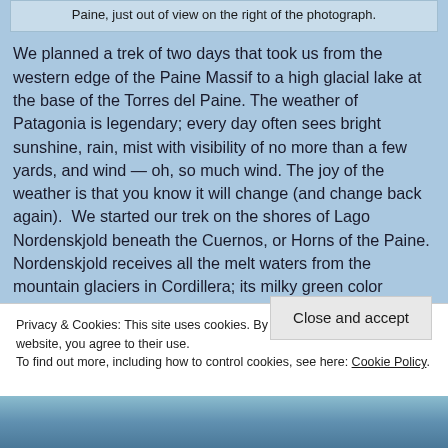Paine, just out of view on the right of the photograph.
We planned a trek of two days that took us from the western edge of the Paine Massif to a high glacial lake at the base of the Torres del Paine. The weather of Patagonia is legendary; every day often sees bright sunshine, rain, mist with visibility of no more than a few yards, and wind — oh, so much wind. The joy of the weather is that you know it will change (and change back again).  We started our trek on the shores of Lago Nordenskjold beneath the Cuernos, or Horns of the Paine.  Nordenskjold receives all the melt waters from the mountain glaciers in Cordillera; its milky green color reflects the large sediment content carried
Privacy & Cookies: This site uses cookies. By continuing to use this website, you agree to their use.
To find out more, including how to control cookies, see here: Cookie Policy
[Figure (photo): Partial view of a mountain/glacial scene at the bottom of the page]